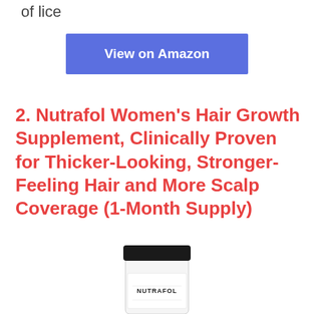of lice
View on Amazon
2. Nutrafol Women’s Hair Growth Supplement, Clinically Proven for Thicker-Looking, Stronger-Feeling Hair and More Scalp Coverage (1-Month Supply)
[Figure (photo): A white cylindrical product bottle with a black lid labeled NUTRAFOL]